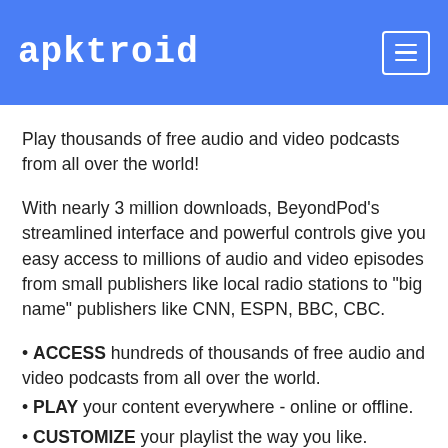apktroid
Play thousands of free audio and video podcasts from all over the world!
With nearly 3 million downloads, BeyondPod's streamlined interface and powerful controls give you easy access to millions of audio and video episodes from small publishers like local radio stations to "big name" publishers like CNN, ESPN, BBC, CBC.
ACCESS hundreds of thousands of free audio and video podcasts from all over the world.
PLAY your content everywhere - online or offline.
CUSTOMIZE your playlist the way you like.